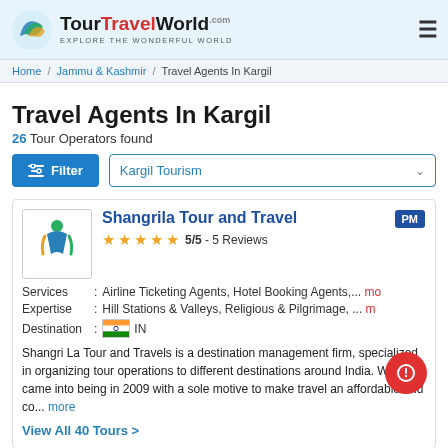TourTravelWorld.com — EXPLORE THE WONDERFUL WORLD
Home / Jammu & Kashmir / Travel Agents In Kargil
Travel Agents In Kargil
26 Tour Operators found
Filter | Kargil Tourism
Shangrila Tour and Travel — 5/5 - 5 Reviews — PM
Services : Airline Ticketing Agents, Hotel Booking Agents,... more
Expertise : Hill Stations & Valleys, Religious & Pilgrimage, ... m
Destination : IN
Shangri La Tour and Travels is a destination management firm, specialized in organizing tour operations to different destinations around India. We came into being in 2009 with a sole motive to make travel an affordable and co... more
View All 40 Tours >